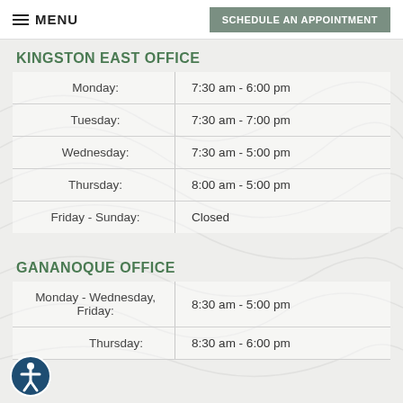MENU | SCHEDULE AN APPOINTMENT
KINGSTON EAST OFFICE
| Day | Hours |
| --- | --- |
| Monday: | 7:30 am - 6:00 pm |
| Tuesday: | 7:30 am - 7:00 pm |
| Wednesday: | 7:30 am - 5:00 pm |
| Thursday: | 8:00 am - 5:00 pm |
| Friday - Sunday: | Closed |
GANANOQUE OFFICE
| Day | Hours |
| --- | --- |
| Monday - Wednesday, Friday: | 8:30 am - 5:00 pm |
| Thursday: | 8:30 am - 6:00 pm |